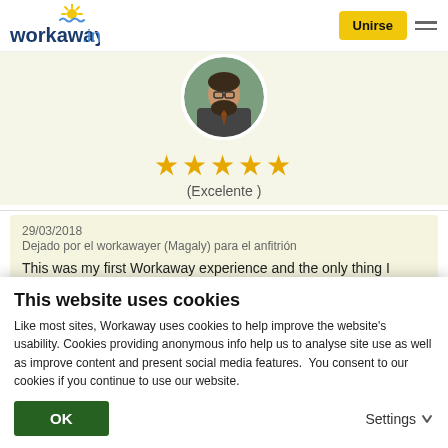[Figure (logo): Workaway.info logo with sun icon in top left header]
Unirse
[Figure (photo): Circular profile photo of a bearded man wearing glasses and a suit]
★★★★★
(Excelente )
29/03/2018
Dejado por el workawayer (Magaly) para el anfitrión
This was my first Workaway experience and the only thing I
This website uses cookies
Like most sites, Workaway uses cookies to help improve the website's usability. Cookies providing anonymous info help us to analyse site use as well as improve content and present social media features.  You consent to our cookies if you continue to use our website.
OK
Settings